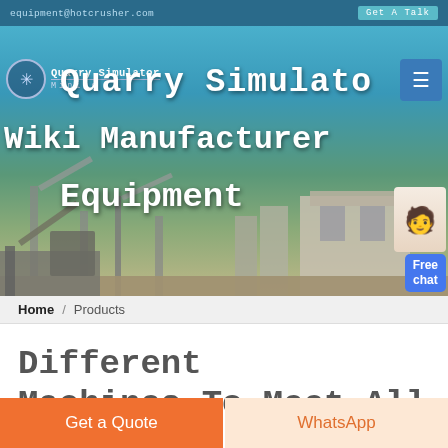equipment@hotcrusher.com   Get A Talk
[Figure (screenshot): Hero banner showing quarry/mining equipment machinery in a dusty outdoor setting with blue sky background. Overlaid text reads 'Quarry Simulator Mining Wiki Manufacturer Equipment'. Logo with snowflake icon and 'Mining' subtitle at top left. Hamburger menu button at top right. Free chat bubble with support agent at bottom right.]
Home / Products
Different Machines To Meet All
Get a Quote   WhatsApp